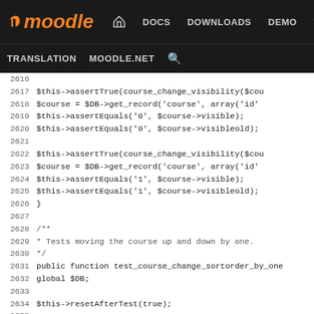Moodle navigation bar: DOCS DOWNLOADS DEMO TRACKER DEV | TRANSLATION MOODLE.NET search
[Figure (screenshot): Moodle developer documentation website navigation bar with logo, nav links (DOCS, DOWNLOADS, DEMO, TRACKER, DEV highlighted in blue), and secondary nav (TRANSLATION, MOODLE.NET, search icon)]
PHP source code lines 2616-2642 showing unit test methods for course_change_visibility and test_course_change_sortorder_by_one functions